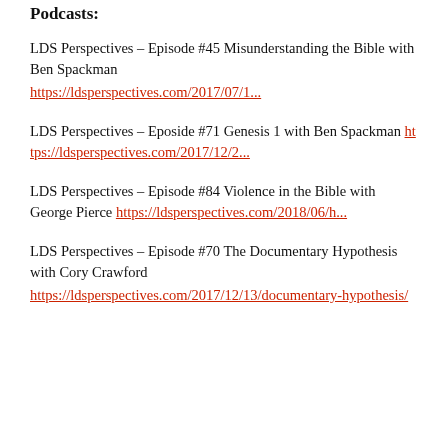Podcasts:
LDS Perspectives – Episode #45 Misunderstanding the Bible with Ben Spackman https://ldsperspectives.com/2017/07/1...
LDS Perspectives – Eposide #71 Genesis 1 with Ben Spackman https://ldsperspectives.com/2017/12/2...
LDS Perspectives – Episode #84 Violence in the Bible with George Pierce https://ldsperspectives.com/2018/06/h...
LDS Perspectives – Episode #70 The Documentary Hypothesis with Cory Crawford https://ldsperspectives.com/2017/12/13/documentary-hypothesis/